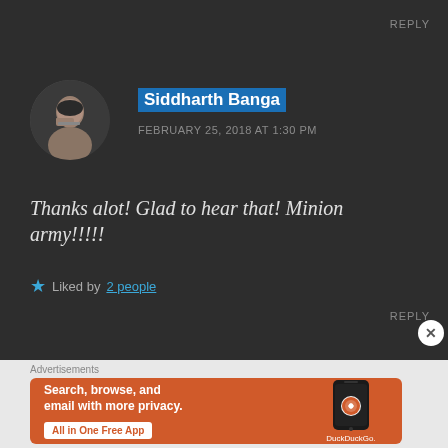REPLY
[Figure (photo): Circular avatar photo of Siddharth Banga, a man resting his chin on his hand]
Siddharth Banga
FEBRUARY 25, 2018 AT 1:30 PM
Thanks alot! Glad to hear that! Minion army!!!!!
★ Liked by 2 people
REPLY
Advertisements
[Figure (screenshot): DuckDuckGo advertisement banner: orange background with text 'Search, browse, and email with more privacy. All in One Free App' and DuckDuckGo logo on phone]